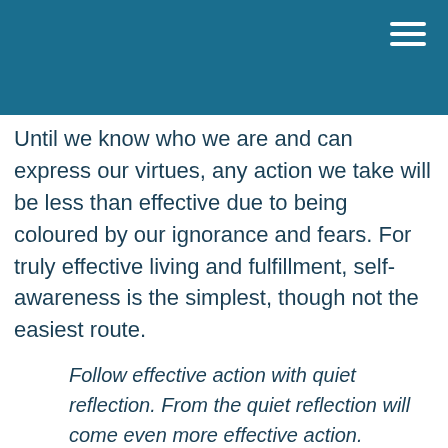Until we know who we are and can express our virtues, any action we take will be less than effective due to being coloured by our ignorance and fears. For truly effective living and fulfillment, self-awareness is the simplest, though not the easiest route.
Follow effective action with quiet reflection. From the quiet reflection will come even more effective action.
Peter Drucker